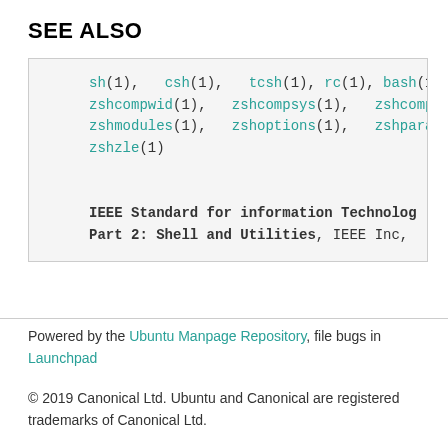SEE ALSO
sh(1),  csh(1),  tcsh(1), rc(1), bash(1), zshcompwid(1),  zshcompsys(1),  zshcomp..., zshmodules(1),  zshoptions(1),  zshpara..., zshzle(1)

IEEE Standard for information Technology... Part 2: Shell and Utilities, IEEE Inc,
Powered by the Ubuntu Manpage Repository, file bugs in Launchpad
© 2019 Canonical Ltd. Ubuntu and Canonical are registered trademarks of Canonical Ltd.